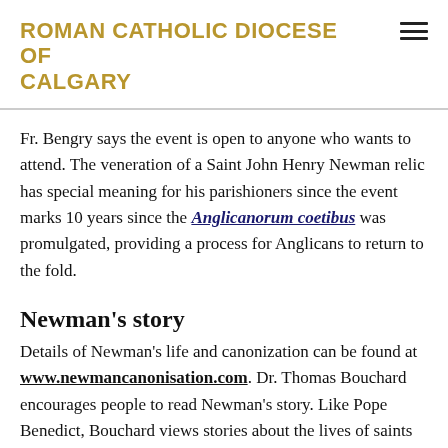ROMAN CATHOLIC DIOCESE OF CALGARY
Fr. Bengry says the event is open to anyone who wants to attend. The veneration of a Saint John Henry Newman relic has special meaning for his parishioners since the event marks 10 years since the Anglicanorum coetibus was promulgated, providing a process for Anglicans to return to the fold.
Newman's story
Details of Newman's life and canonization can be found at www.newmancanonisation.com. Dr. Thomas Bouchard encourages people to read Newman's story. Like Pope Benedict, Bouchard views stories about the lives of saints as a kind of second gospel. “Because they live out the gospel in their lives, reading about the lives